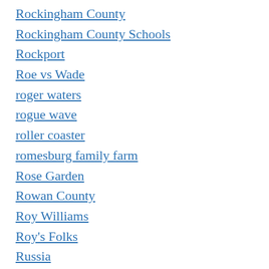Rockingham County
Rockingham County Schools
Rockport
Roe vs Wade
roger waters
rogue wave
roller coaster
romesburg family farm
Rose Garden
Rowan County
Roy Williams
Roy's Folks
Russia
Ryan Newman
Safe